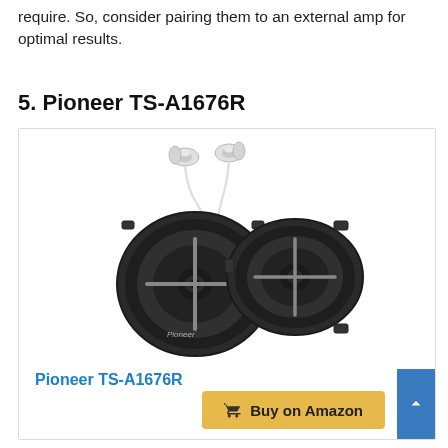require. So, consider pairing them to an external amp for optimal results.
5. Pioneer TS-A1676R
[Figure (photo): Product photo of Pioneer TS-A1676R car speakers (two circular black speakers) with a pair of white earbuds. A green SALE badge is in the top right corner of the product box.]
Pioneer TS-A1676R
Buy on Amazon